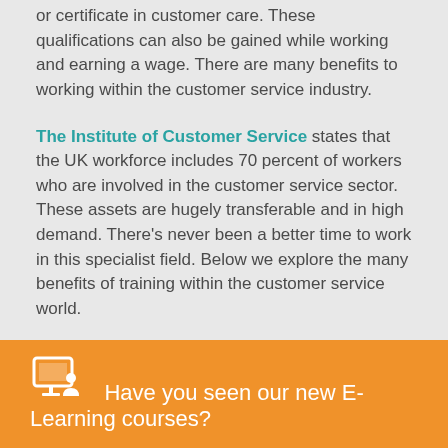or certificate in customer care. These qualifications can also be gained while working and earning a wage. There are many benefits to working within the customer service industry.
The Institute of Customer Service states that the UK workforce includes 70 percent of workers who are involved in the customer service sector. These assets are hugely transferable and in high demand. There's never been a better time to work in this specialist field. Below we explore the many benefits of training within the customer service world.
What Exactly is Customer Service?
Have you seen our new E-Learning courses?